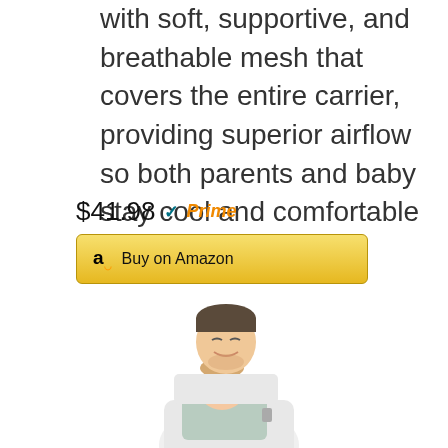with soft, supportive, and breathable mesh that covers the entire carrier, providing superior airflow so both parents and baby stay cool and comfortable
$41.98 ✓Prime
[Figure (illustration): A man wearing a baby carrier (mesh, gray/mint colored) with a toddler facing outward, both looking down. The man is wearing a white shirt. The baby has light hair and is sticking out their tongue.]